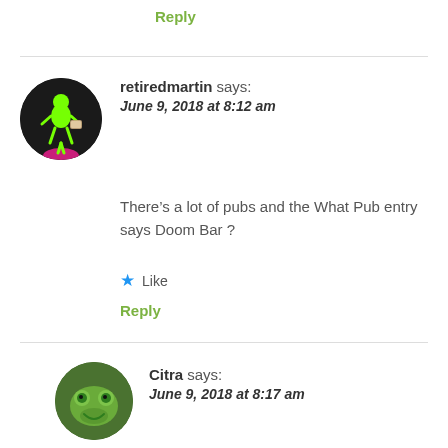Reply
retiredmartin says:
June 9, 2018 at 8:12 am
There’s a lot of pubs and the What Pub entry says Doom Bar ?
★ Like
Reply
Citra says:
June 9, 2018 at 8:17 am